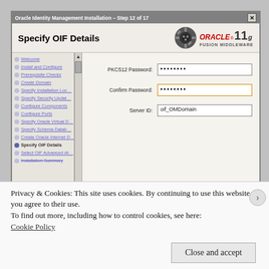Oracle Identity Management Installation – Step 12 of 17
Specify OIF Details
Welcome
Install and Configure
Prerequisite Checks
Create Domain
Specify Installation Loca...
Specify Security Update...
Configure Components
Configure Ports
Specify Oracle Virtual D...
Specify Schema Databa...
Create Oracle Internet D...
Specify OIF Details
Select OIF Advanced Att...
Installation Summary
| Field | Value |
| --- | --- |
| PKCS12 Password: | •••••••• |
| Confirm Password: | •••••••• |
| Server ID: | oif_OMDomain |
Privacy & Cookies: This site uses cookies. By continuing to use this website, you agree to their use.
To find out more, including how to control cookies, see here:
Cookie Policy
Close and accept